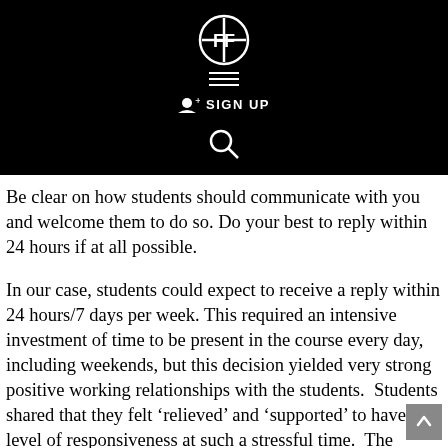[Figure (logo): Website header with logo (FF inside circle with cross), hamburger menu icon, SIGN UP button, and search icon on black background]
Be clear on how students should communicate with you and welcome them to do so. Do your best to reply within 24 hours if at all possible.
In our case, students could expect to receive a reply within 24 hours/7 days per week. This required an intensive investment of time to be present in the course every day, including weekends, but this decision yielded very strong positive working relationships with the students.  Students shared that they felt ‘relieved’ and ‘supported’ to have this level of responsiveness at such a stressful time.  The students